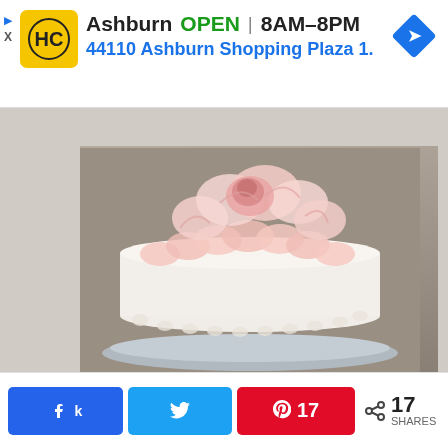[Figure (screenshot): Ad banner for Harris Country/HC store in Ashburn. Shows HC logo (yellow circle with HC letters), text: Ashburn OPEN 8AM-8PM, 44110 Ashburn Shopping Plaza 1., with navigation arrow icon. Small up-arrow and X/close controls on left.]
[Figure (photo): Photo of a white layered cake decorated with pink and white ruffled flower petals on top, sitting on a silver cake board against a dark background.]
[Figure (screenshot): Social share bar at the bottom with Facebook (f icon), Twitter (bird icon), Pinterest (p icon) with count 17, and share icon with 17 SHARES.]